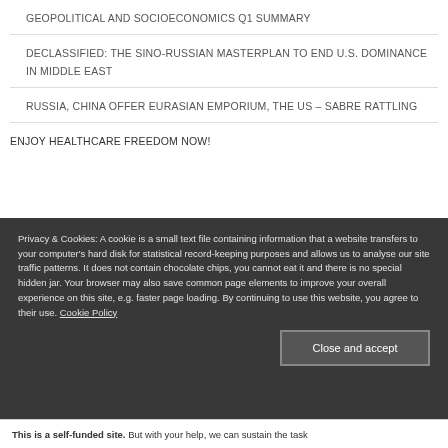GEOPOLITICAL AND SOCIOECONOMICS Q1 SUMMARY
DECLASSIFIED: THE SINO-RUSSIAN MASTERPLAN TO END U.S. DOMINANCE IN MIDDLE EAST
RUSSIA, CHINA OFFER EURASIAN EMPORIUM, THE US – SABRE RATTLING
ENJOY HEALTHCARE FREEDOM NOW!
Privacy & Cookies: A cookie is a small text file containing information that a website transfers to your computer's hard disk for statistical record-keeping purposes and allows us to analyse our site traffic patterns. It does not contain chocolate chips, you cannot eat it and there is no special hidden jar. Your browser may also save common page elements to improve your overall experience on this site, e.g. faster page loading. By continuing to use this website, you agree to their use. Cookie Policy
Close and accept
This is a self-funded site. But with your help, we can sustain the task